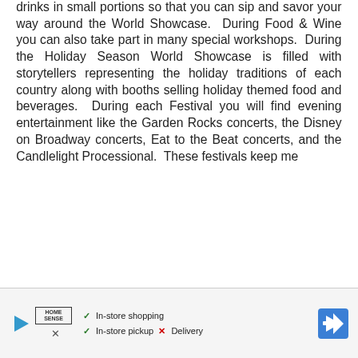drinks in small portions so that you can sip and savor your way around the World Showcase. During Food & Wine you can also take part in many special workshops. During the Holiday Season World Showcase is filled with storytellers representing the holiday traditions of each country along with booths selling holiday themed food and beverages. During each Festival you will find evening entertainment like the Garden Rocks concerts, the Disney on Broadway concerts, Eat to the Beat concerts, and the Candlelight Processional. These festivals keep me
[Figure (other): Advertisement banner for HomeSense showing in-store shopping, in-store pickup availability and no delivery option, with a navigation/directions icon on the right.]